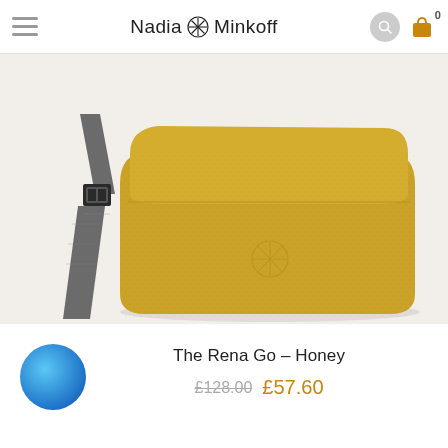Nadia Minkoff
[Figure (photo): A yellow/honey-coloured leather fold-over crossbody bag with a grey woven strap and black metal hardware, photographed on a white background. The Nadia Minkoff logo is embossed on the front of the bag.]
[Figure (other): Blue circle colour swatch representing the Honey colour option for The Rena Go bag.]
The Rena Go – Honey
£128.00 £57.60